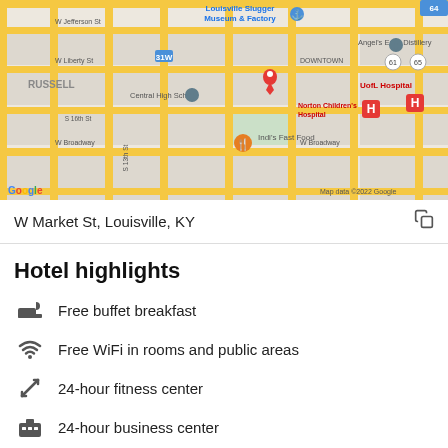[Figure (map): Google Maps view of Downtown Louisville, KY showing streets including W Market St, W Liberty St, W Broadway, landmarks including Louisville Slugger Museum & Factory, Angel's Envy Distillery, Central High School, UofL Hospital, Norton Children's Hospital, Indi's Fast Food. Red pin marker visible near W Market St. Map data ©2022 Google.]
W Market St, Louisville, KY
Hotel highlights
Free buffet breakfast
Free WiFi in rooms and public areas
24-hour fitness center
24-hour business center
Located in Downtown Louisville, Holiday Inn Express & Suites Louisville Downtown, an IHG Hotel is next to popular attractions like Louisville Slugger Museum and Frazier International History Museum.